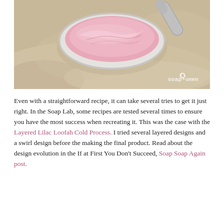[Figure (photo): Close-up photo of a glass spoon or ladle holding pink creamy soap mixture, resting on a beige/cream fabric background. Watermark 'SoapQueen' visible in the lower right corner of the image.]
Even with a straightforward recipe, it can take several tries to get it just right. In the Soap Lab, some recipes are tested several times to ensure you have the most success when recreating it. This was the case with the Layered Lilac Loofah Cold Process. I tried several layered designs and a swirl design before the making the final product. Read about the design evolution in the If at First You Don't Succeed, Soap Soap Again post.